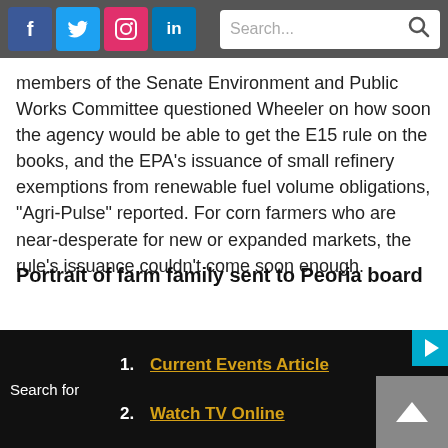[Figure (screenshot): Top navigation bar with social media icons (Facebook, Twitter, Instagram, LinkedIn) on left and a search box on right, on dark grey background.]
members of the Senate Environment and Public Works Committee questioned Wheeler on how soon the agency would be able to get the E15 rule on the books, and the EPA’s issuance of small refinery exemptions from renewable fuel volume obligations, “Agri-Pulse” reported. For corn farmers who are near-desperate for new or expanded markets, the rule’s issuance couldn’t come soon enough.
Portrait of farm family sent to Peoria board
PEORIA — A rural Peoria County family planning to expand their farm
[Figure (screenshot): Dark bottom bar with numbered links: 1. Current Events Article, 2. Watch TV Online, with a play button and scroll-to-top button on the right.]